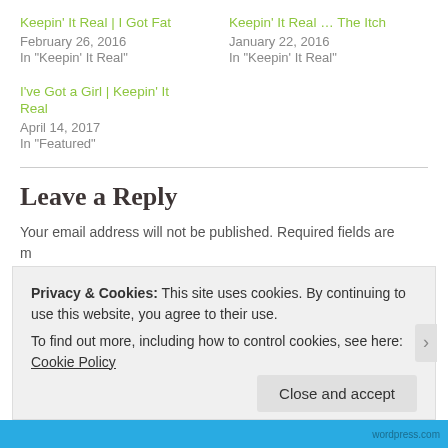Keepin' It Real | I Got Fat
February 26, 2016
In "Keepin' It Real"
Keepin' It Real … The Itch
January 22, 2016
In "Keepin' It Real"
I've Got a Girl | Keepin' It Real
April 14, 2017
In "Featured"
Leave a Reply
Your email address will not be published. Required fields are marked *
Comment
Privacy & Cookies: This site uses cookies. By continuing to use this website, you agree to their use.
To find out more, including how to control cookies, see here: Cookie Policy
Close and accept